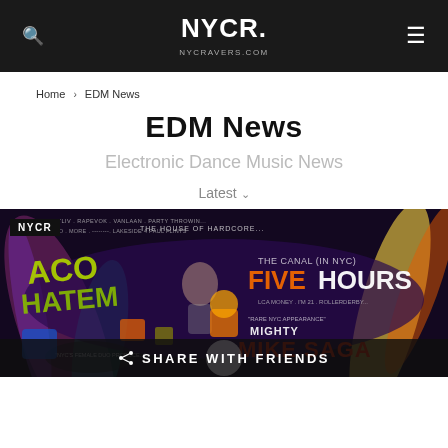NYCR NYCRAVERS.COM
Home > EDM News
EDM News
Electronic Dance Music News
Latest
[Figure (photo): EDM event promotional banner for NYCR featuring colorful graffiti-style logos and text including 'The House of Hardcore', 'Five Hours', 'Mighty Mike Saga', and other DJ names with vibrant neon colors on dark background]
SHARE WITH FRIENDS